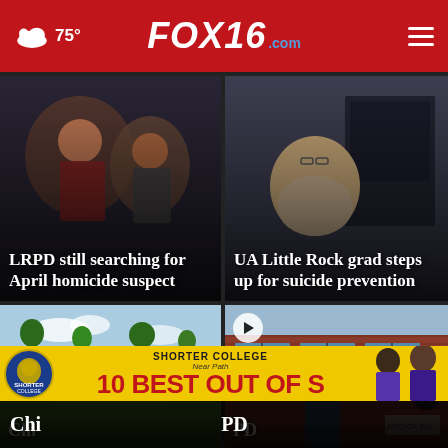FOX16.com — 75°
[Figure (photo): News card 1: Children in a car. Headline: LRPD still searching for April homicide suspect]
[Figure (photo): News card 2: Woman at computer workstation. Headline: UA Little Rock grad steps up for suicide prevention]
[Figure (photo): News card 3 (bottom left): Park/green lawn scene. Partial headline visible: Chi...]
[Figure (photo): News card 4 (bottom right): Brick building exterior with play button. Close button overlay. Partial headline: ...PD]
SHORTER COLLEGE — BEST OUT OF S...